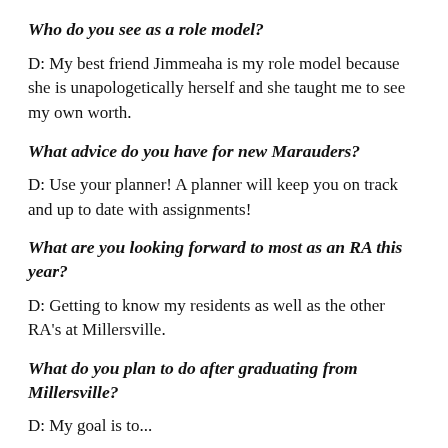Who do you see as a role model?
D: My best friend Jimmeaha is my role model because she is unapologetically herself and she taught me to see my own worth.
What advice do you have for new Marauders?
D: Use your planner! A planner will keep you on track and up to date with assignments!
What are you looking forward to most as an RA this year?
D: Getting to know my residents as well as the other RA's at Millersville.
What do you plan to do after graduating from Millersville?
D: My goal is to...